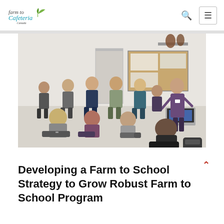farm to Cafeteria Canada [logo] [search icon] [menu icon]
[Figure (photo): A group of people sitting in a circle in a community room for a workshop or meeting. Some participants sit on chairs while others sit on the floor. A woman in a purple top stands and speaks at the right side of the room. A corkboard and laptop are visible in the background.]
Developing a Farm to School Strategy to Grow Robust Farm to School Program